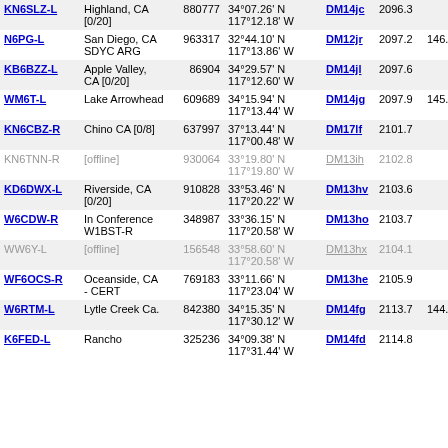| Callsign | Location | Node | Coordinates | Grid | Freq |  |
| --- | --- | --- | --- | --- | --- | --- |
| KN6SLZ-L | Sun City, CA [0/20] | 880777 | 34°07.26' N 117°12.18' W | DM14jc | 2096.3 |  |
| N6PG-L | San Diego, CA SDYC ARG | 963317 | 32°44.10' N 117°13.86' W | DM12jr | 2097.2 | 146.58 |
| KB6BZZ-L | Apple Valley, CA [0/20] | 86904 | 34°29.57' N 117°12.60' W | DM14jl | 2097.6 |  |
| WM6T-L | Lake Arrowhead | 609689 | 34°15.94' N 117°13.44' W | DM14jg | 2097.9 | 145.12 |
| KN6CBZ-R | Chino CA [0/8] | 637997 | 37°13.44' N 117°00.48' W | DM17lf | 2101.7 |  |
| KN6TNN-R | [offline] | 930064 | 33°19.80' N 117°19.80' W | DM13ih | 2102.8 |  |
| KD6DWX-L | Riverside, CA [0/20] | 910828 | 33°53.46' N 117°20.22' W | DM13hv | 2103.6 |  |
| W6CDW-R | In Conference W1BST-R | 348987 | 33°36.15' N 117°20.58' W | DM13ho | 2103.7 |  |
| WW6Y-L | [offline] | 156548 | 33°58.60' N 117°20.58' W | DM13hx | 2104.1 |  |
| WF6OCS-R | Oceanside, CA - CERT | 769183 | 33°11.66' N 117°23.04' W | DM13he | 2105.9 |  |
| W6RTM-L | Lytle Creek Ca. | 842380 | 34°15.35' N 117°30.12' W | DM14fg | 2113.7 | 144.95 |
| K6FED-L | Rancho ... | 325236 | 34°09.38' N 117°31.44' W | DM14fd | 2114.8 |  |